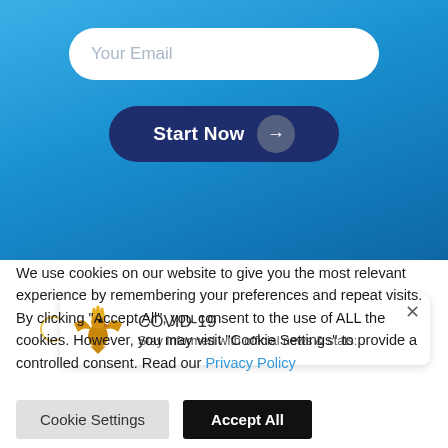[Figure (screenshot): Blue gradient background section with a white rounded email input field and a dark navy 'Start Now' button with arrow icon]
[Figure (screenshot): COVID-19 notification banner with eagle logo, title 'COVID-19', subtitle 'Stay informed with official news & stats:' and a close X button]
We use cookies on our website to give you the most relevant experience by remembering your preferences and repeat visits. By clicking “Accept All”, you consent to the use of ALL the cookies. However, you may visit “Cookie Settings” to provide a controlled consent. Read our Privacy Policy
Cookie Settings
Accept All